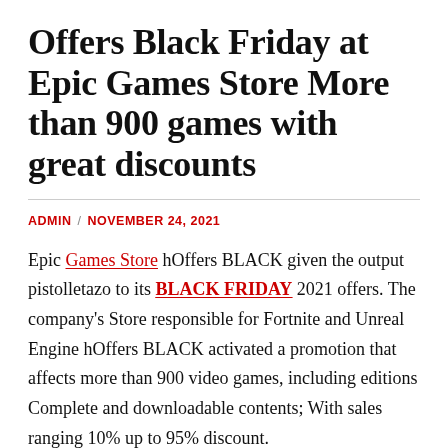Offers Black Friday at Epic Games Store More than 900 games with great discounts
ADMIN / NOVEMBER 24, 2021
Epic Games Store hOffers BLACK given the output pistolletazo to its BLACK FRIDAY 2021 offers. The company's Store responsible for Fortnite and Unreal Engine hOffers BLACK activated a promotion that affects more than 900 video games, including editions Complete and downloadable contents; With sales ranging 10% up to 95% discount.